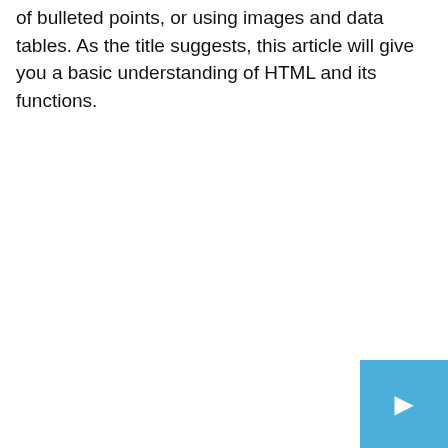of bulleted points, or using images and data tables. As the title suggests, this article will give you a basic understanding of HTML and its functions.